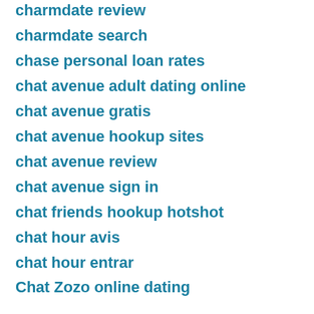charmdate review
charmdate search
chase personal loan rates
chat avenue adult dating online
chat avenue gratis
chat avenue hookup sites
chat avenue review
chat avenue sign in
chat friends hookup hotshot
chat hour avis
chat hour entrar
Chat Zozo online dating